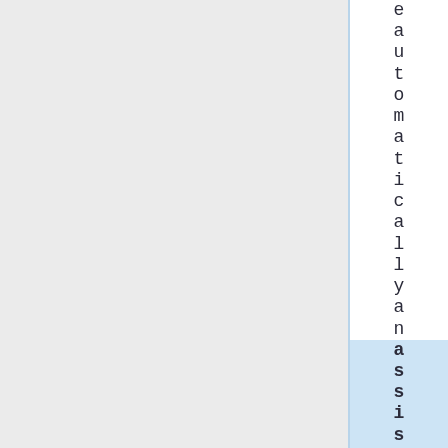e a u t o m a t i c a l l y a n assist